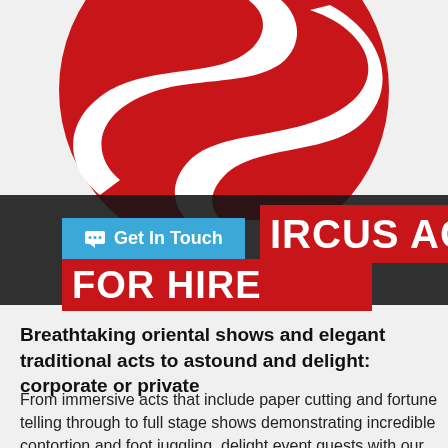[Figure (logo): Large red circular logo with stylized white S-shape / swoosh design on light grey background]
CIRCUS ACTS FOR HIRE
Breathtaking oriental shows and elegant traditional acts to astound and delight: corporate or private
From immersive acts that include paper cutting and fortune telling through to full stage shows demonstrating incredible contortion and foot juggling, delight event guests with our extensive roster of specialist Chinese circus acts.